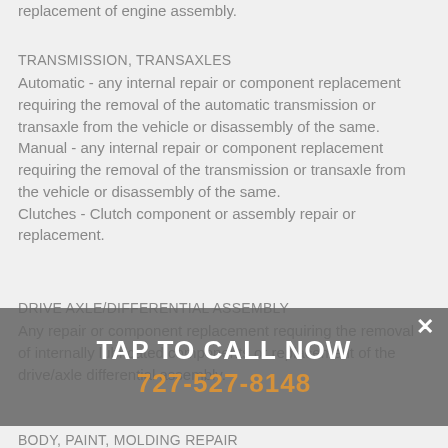replacement of engine assembly.
TRANSMISSION, TRANSAXLES
Automatic - any internal repair or component replacement requiring the removal of the automatic transmission or transaxle from the vehicle or disassembly of the same.
Manual - any internal repair or component replacement requiring the removal of the transmission or transaxle from the vehicle or disassembly of the same.
Clutches - Clutch component or assembly repair or replacement.
DRIVE AXLE/DIFFERENTIAL ASSEMBLY
Any repair or component replacement requiring the removal of internally lubricated components or replacement of the drive/axle differential assembly.
BODY, PAINT, MOLDING REPAIR
[Figure (infographic): Call-to-action overlay banner with white text 'TAP TO CALL NOW' and orange phone number '727-527-8148', with an X close button in the top right corner, overlaid on a dark semi-transparent gray background.]